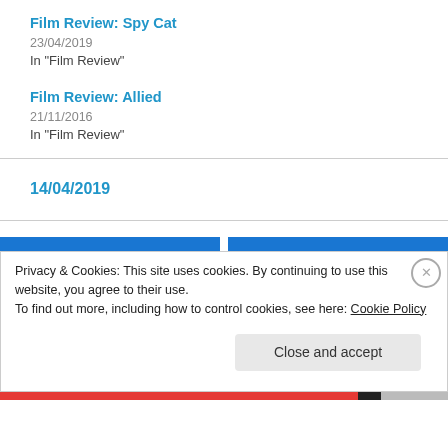Film Review: Spy Cat
23/04/2019
In "Film Review"
Film Review: Allied
21/11/2016
In "Film Review"
14/04/2019
Privacy & Cookies: This site uses cookies. By continuing to use this website, you agree to their use.
To find out more, including how to control cookies, see here: Cookie Policy
Close and accept